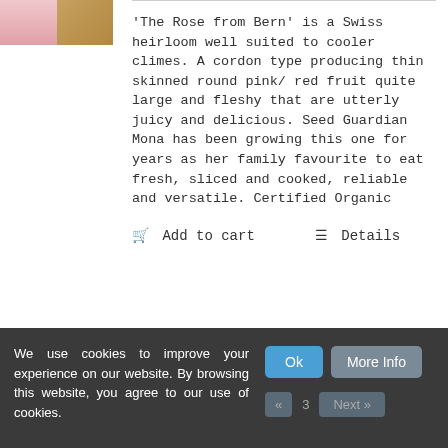[Figure (photo): Photo of a pink/red tomato, partially cropped at top left of page]
'The Rose from Bern' is a Swiss heirloom well suited to cooler climes. A cordon type producing thin skinned round pink/ red fruit quite large and fleshy that are utterly juicy and delicious. Seed Guardian Mona has been growing this one for years as her family favourite to eat fresh, sliced and cooked, reliable and versatile. Certified Organic
Add to cart   Details
We use cookies to improve your experience on our website. By browsing this website, you agree to our use of cookies.